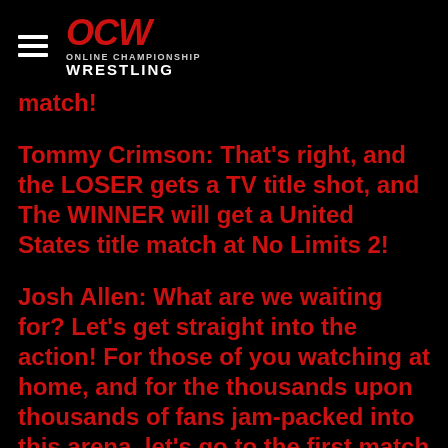OCW Online Championship Wrestling
match!
Tommy Crimson: That's right, and the LOSER gets a TV title shot, and The WINNER will get a United States title match at No Limits 2!
Josh Allen: What are we waiting for? Let's get straight into the action! For those of you watching at home, and for the thousands upon thousands of fans jam-packed into this arena, let's go to the first match up!
~The camera cuts to the back where we see Snoops arriving to the arena, the fans boo as they see him and he begins walking somewhere backstage. The camera